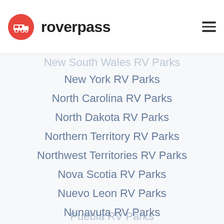roverpass
New South Wales RV Parks
New York RV Parks
North Carolina RV Parks
North Dakota RV Parks
Northern Territory RV Parks
Northwest Territories RV Parks
Nova Scotia RV Parks
Nuevo Leon RV Parks
Nunavuta RV Parks
Oaxaca RV Parks
Ohio RV Parks
Oklahoma RV Parks
Ontario RV Parks
Oregon RV Parks
Pennsylvania RV Parks
Prince Edward Island RV Parks
Puebla RV Parks